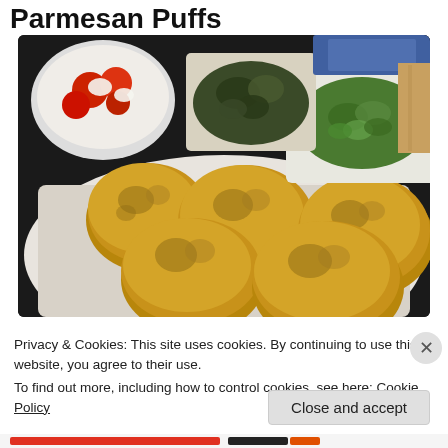Parmesan Puffs
[Figure (photo): Photo of golden breaded Parmesan puff appetizers on a white plate, with small dishes of green vegetable side, stuffed grape leaves, and a bowl of tomatoes with white cheese in the background.]
Privacy & Cookies: This site uses cookies. By continuing to use this website, you agree to their use.
To find out more, including how to control cookies, see here: Cookie Policy